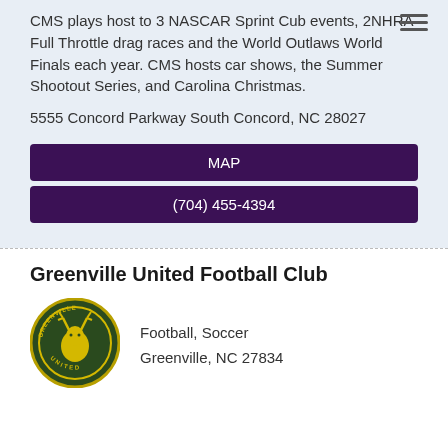CMS plays host to 3 NASCAR Sprint Cup events, 2NHRA Full Throttle drag races and the World Outlaws World Finals each year. CMS hosts car shows, the Summer Shootout Series, and Carolina Christmas.
5555 Concord Parkway South Concord, NC 28027
MAP
(704) 455-4394
Greenville United Football Club
[Figure (logo): Greenville United Football Club circular logo with deer emblem on green and dark background]
Football, Soccer
Greenville, NC 27834
MAP
(540) 454-5088